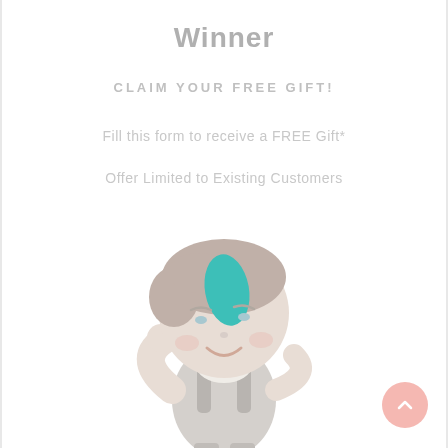Winner
CLAIM YOUR FREE GIFT!
Fill this form to receive a FREE Gift*
Offer Limited to Existing Customers
[Figure (illustration): Cartoon illustration of a smiling boy character with short brown hair, wearing gray overalls, with a teal/turquoise oval badge on his forehead, waving one arm outward. The character is rendered in soft pastel tones.]